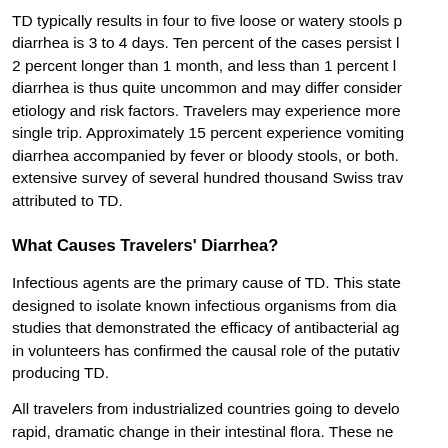TD typically results in four to five loose or watery stools p diarrhea is 3 to 4 days. Ten percent of the cases persist l 2 percent longer than 1 month, and less than 1 percent l diarrhea is thus quite uncommon and may differ consider etiology and risk factors. Travelers may experience more single trip. Approximately 15 percent experience vomiting diarrhea accompanied by fever or bloody stools, or both. extensive survey of several hundred thousand Swiss trav attributed to TD.
What Causes Travelers' Diarrhea?
Infectious agents are the primary cause of TD. This state designed to isolate known infectious organisms from dia studies that demonstrated the efficacy of antibacterial ag in volunteers has confirmed the causal role of the putativ producing TD.
All travelers from industrialized countries going to develo rapid, dramatic change in their intestinal flora. These ne potential enteric pathogens. Those who develop diarrhea virulent organisms sufficiently large to overcome individu in symptoms.